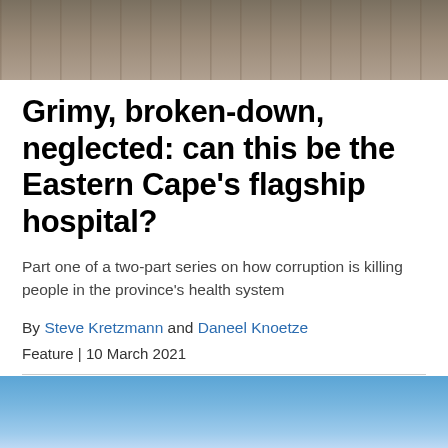[Figure (photo): Top portion of a photo showing what appears to be a grimy outdoor area, possibly a hospital exterior or pavement]
Grimy, broken-down, neglected: can this be the Eastern Cape's flagship hospital?
Part one of a two-part series on how corruption is killing people in the province's health system
By Steve Kretzmann and Daneel Knoetze
Feature | 10 March 2021
[Figure (photo): Bottom portion of a photo showing a blue sky]